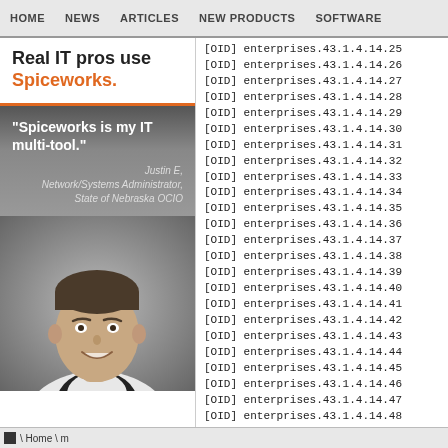HOME   NEWS   ARTICLES   NEW PRODUCTS   SOFTWARE
[Figure (advertisement): Spiceworks advertisement: 'Real IT pros use Spiceworks.' with quote 'Spiceworks is my IT multi-tool.' by Justin E, Network/Systems Administrator, State of Nebraska OCIO, with photo of a man smiling]
[OID] enterprises.43.1.4.14.25
[OID] enterprises.43.1.4.14.26
[OID] enterprises.43.1.4.14.27
[OID] enterprises.43.1.4.14.28
[OID] enterprises.43.1.4.14.29
[OID] enterprises.43.1.4.14.30
[OID] enterprises.43.1.4.14.31
[OID] enterprises.43.1.4.14.32
[OID] enterprises.43.1.4.14.33
[OID] enterprises.43.1.4.14.34
[OID] enterprises.43.1.4.14.35
[OID] enterprises.43.1.4.14.36
[OID] enterprises.43.1.4.14.37
[OID] enterprises.43.1.4.14.38
[OID] enterprises.43.1.4.14.39
[OID] enterprises.43.1.4.14.40
[OID] enterprises.43.1.4.14.41
[OID] enterprises.43.1.4.14.42
[OID] enterprises.43.1.4.14.43
[OID] enterprises.43.1.4.14.44
[OID] enterprises.43.1.4.14.45
[OID] enterprises.43.1.4.14.46
[OID] enterprises.43.1.4.14.47
[OID] enterprises.43.1.4.14.48
[OID] enterprises.43.1.4.14.49
Home \ m